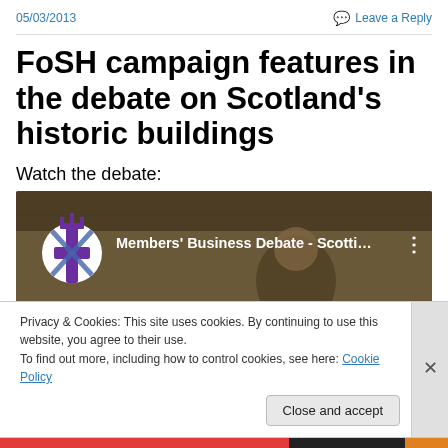05/03/2013
Leave a Reply
FoSH campaign features in the debate on Scotland's historic buildings
Watch the debate:
[Figure (screenshot): YouTube video thumbnail showing Members' Business Debate - Scotti... with Scottish Parliament logo]
Privacy & Cookies: This site uses cookies. By continuing to use this website, you agree to their use.
To find out more, including how to control cookies, see here: Cookie Policy